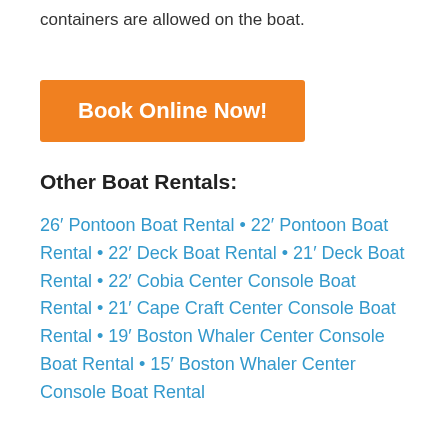containers are allowed on the boat.
Book Online Now!
Other Boat Rentals:
26′ Pontoon Boat Rental • 22′ Pontoon Boat Rental • 22′ Deck Boat Rental • 21′ Deck Boat Rental • 22′ Cobia Center Console Boat Rental • 21′ Cape Craft Center Console Boat Rental • 19′ Boston Whaler Center Console Boat Rental • 15′ Boston Whaler Center Console Boat Rental